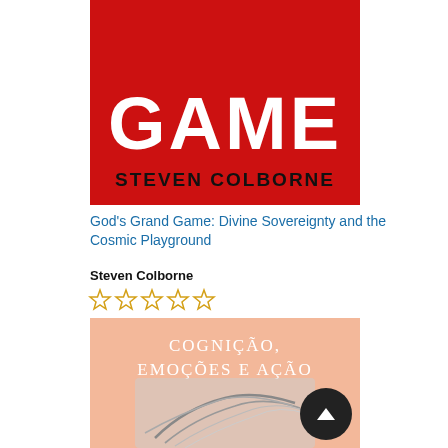[Figure (photo): Book cover for 'God's Grand Game' by Steven Colborne — red background with large white partial text 'GAME' at top and bold black text 'STEVEN COLBORNE' below]
God's Grand Game: Divine Sovereignty and the Cosmic Playground
Steven Colborne
[Figure (other): Five empty star rating icons in gold outline]
[Figure (photo): Book cover for 'Cognição, Emoções e Ação' — salmon/peach background with white serif text title and a grayscale anatomical illustration of an arm/hand at the bottom, with a dark circular scroll-up button overlay in the bottom right]